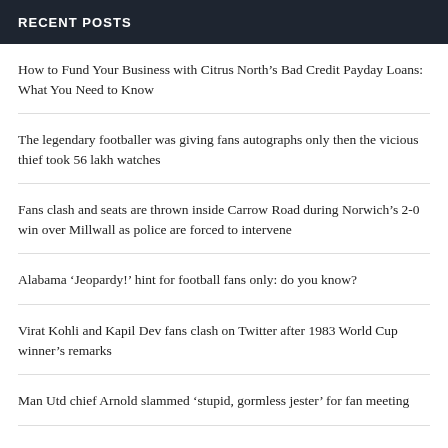RECENT POSTS
How to Fund Your Business with Citrus North’s Bad Credit Payday Loans: What You Need to Know
The legendary footballer was giving fans autographs only then the vicious thief took 56 lakh watches
Fans clash and seats are thrown inside Carrow Road during Norwich’s 2-0 win over Millwall as police are forced to intervene
Alabama ‘Jeopardy!’ hint for football fans only: do you know?
Virat Kohli and Kapil Dev fans clash on Twitter after 1983 World Cup winner’s remarks
Man Utd chief Arnold slammed ‘stupid, gormless jester’ for fan meeting